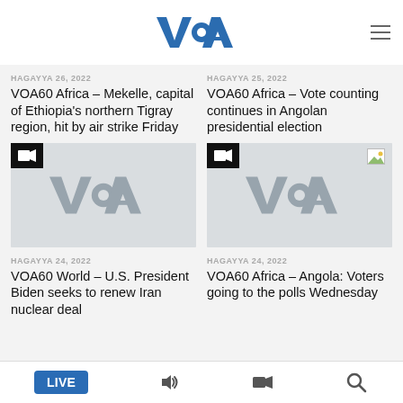VOA
HAGAYYA 26, 2022
VOA60 Africa – Mekelle, capital of Ethiopia's northern Tigray region, hit by air strike Friday
HAGAYYA 25, 2022
VOA60 Africa – Vote counting continues in Angolan presidential election
[Figure (logo): VOA thumbnail placeholder with video camera icon]
[Figure (logo): VOA thumbnail placeholder with video camera icon and broken image]
HAGAYYA 24, 2022
VOA60 World – U.S. President Biden seeks to renew Iran nuclear deal
HAGAYYA 24, 2022
VOA60 Africa – Angola: Voters going to the polls Wednesday
LIVE